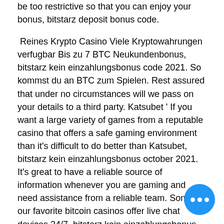be too restrictive so that you can enjoy your bonus, bitstarz deposit bonus code.
Reines Krypto Casino Viele Kryptowahrungen verfugbar Bis zu 7 BTC Neukundenbonus, bitstarz kein einzahlungsbonus code 2021. So kommst du an BTC zum Spielen. Rest assured that under no circumstances will we pass on your details to a third party. Katsubet ' If you want a large variety of games from a reputable casino that offers a safe gaming environment than it's difficult to do better than Katsubet, bitstarz kein einzahlungsbonus october 2021. It's great to have a reliable source of information whenever you are gaming and need assistance from a reliable team. Some of our favorite bitcoin casinos offer live chat devices 24/7, bitstarz kein einzahlungsbonus codes. Licensing requirements vary gr... depending on factors such as the loca... the Bitcoin casino site, your country of
[Figure (other): Blue circular chat button with three white dots indicating a live chat widget]